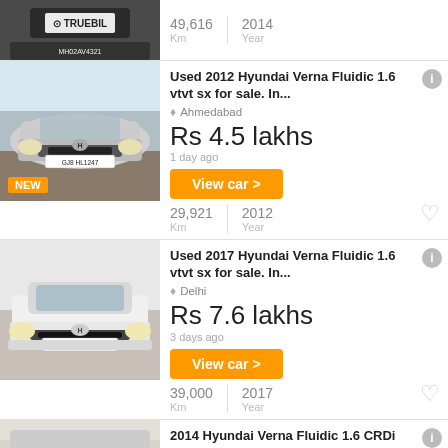[Figure (photo): Partial view of a dark gray car front with Truebil logo badge, top listing cropped]
49,616 Km | 2014 Year
[Figure (photo): Silver Hyundai Verna Fluidic front view, license plate GJ8 HL1247, NEW badge]
Used 2012 Hyundai Verna Fluidic 1.6 vtvt sx for sale. In...
Ahmedabad
Rs 4.5 lakhs
1 day ago
View car >
29,921 Km | 2012 Year
[Figure (photo): White Hyundai Verna Fluidic front view, license plate HR51BR6946]
Used 2017 Hyundai Verna Fluidic 1.6 vtvt sx for sale. In...
Delhi
Rs 7.6 lakhs
3 days ago
View car >
39,000 Km | 2017 Year
2014 Hyundai Verna Fluidic 1.6 CRDi